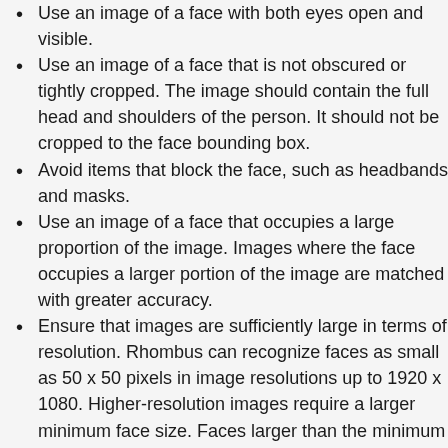Use an image of a face with both eyes open and visible.
Use an image of a face that is not obscured or tightly cropped. The image should contain the full head and shoulders of the person. It should not be cropped to the face bounding box.
Avoid items that block the face, such as headbands and masks.
Use an image of a face that occupies a large proportion of the image. Images where the face occupies a larger portion of the image are matched with greater accuracy.
Ensure that images are sufficiently large in terms of resolution. Rhombus can recognize faces as small as 50 x 50 pixels in image resolutions up to 1920 x 1080. Higher-resolution images require a larger minimum face size. Faces larger than the minimum size provide a more accurate set of facial comparison results.
Use color images.